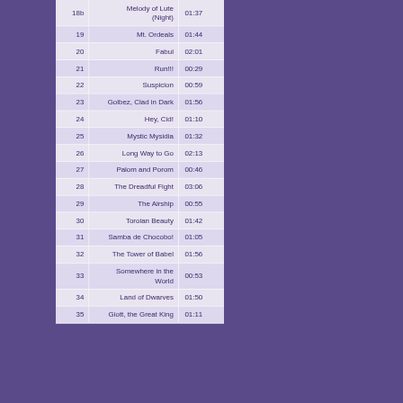| # | Title | Duration |
| --- | --- | --- |
| 18b | Melody of Lute (Night) | 01:37 |
| 19 | Mt. Ordeals | 01:44 |
| 20 | Fabul | 02:01 |
| 21 | Run!!! | 00:29 |
| 22 | Suspicion | 00:59 |
| 23 | Golbez, Clad in Dark | 01:56 |
| 24 | Hey, Cid! | 01:10 |
| 25 | Mystic Mysidia | 01:32 |
| 26 | Long Way to Go | 02:13 |
| 27 | Palom and Porom | 00:46 |
| 28 | The Dreadful Fight | 03:06 |
| 29 | The Airship | 00:55 |
| 30 | Toroian Beauty | 01:42 |
| 31 | Samba de Chocobo! | 01:05 |
| 32 | The Tower of Babel | 01:56 |
| 33 | Somewhere in the World | 00:53 |
| 34 | Land of Dwarves | 01:50 |
| 35 | Giott, the Great King | 01:11 |